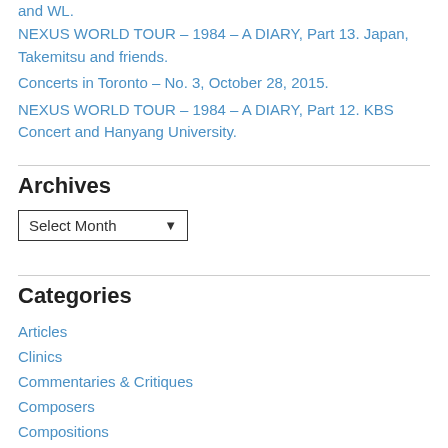and WL.
NEXUS WORLD TOUR – 1984 – A DIARY, Part 13. Japan, Takemitsu and friends.
Concerts in Toronto – No. 3, October 28, 2015.
NEXUS WORLD TOUR – 1984 – A DIARY, Part 12. KBS Concert and Hanyang University.
Archives
Select Month
Categories
Articles
Clinics
Commentaries & Critiques
Composers
Compositions
Contemporary Music